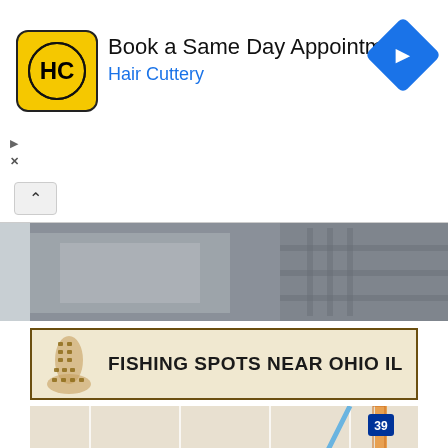[Figure (screenshot): Advertisement banner for Hair Cuttery with yellow logo, text 'Book a Same Day Appointment / Hair Cuttery', and blue navigation arrow icon]
[Figure (screenshot): Browser tab bar with up chevron button]
[Figure (photo): Partial photo strip showing outdoor/fishing scene in grayscale]
FISHING SPOTS NEAR OHIO IL
[Figure (map): Google Maps style map showing fishing spots near Ohio, IL area with locations near Oregon, Dixon, Mount Carroll, and Rochelle, IL. Blue map pins mark fishing locations. Highway 39 and 88 visible.]